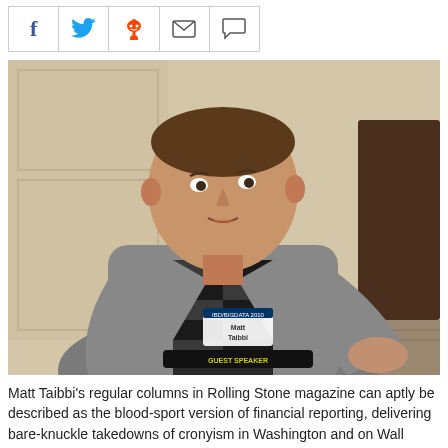[Figure (other): Social media sharing icons bar with Facebook (f), Twitter (bird), Reddit (alien), email (envelope), and comment (speech bubble) icons]
[Figure (photo): A man wearing a grey blazer over a black-and-white checkered shirt with a conference name badge reading 'Matt Taibbi', sitting and speaking, photographed indoors against a cream-colored wall background]
Matt Taibbi's regular columns in Rolling Stone magazine can aptly be described as the blood-sport version of financial reporting, delivering bare-knuckle takedowns of cronyism in Washington and on Wall Street.